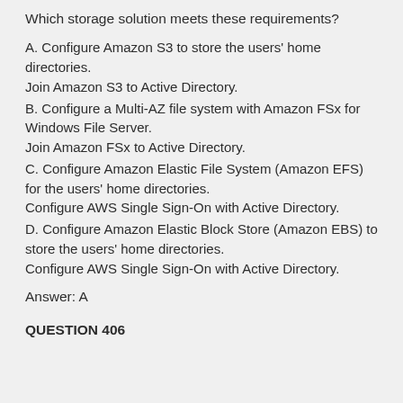Which storage solution meets these requirements?
A. Configure Amazon S3 to store the users' home directories.
Join Amazon S3 to Active Directory.
B. Configure a Multi-AZ file system with Amazon FSx for Windows File Server.
Join Amazon FSx to Active Directory.
C. Configure Amazon Elastic File System (Amazon EFS) for the users' home directories.
Configure AWS Single Sign-On with Active Directory.
D. Configure Amazon Elastic Block Store (Amazon EBS) to store the users' home directories.
Configure AWS Single Sign-On with Active Directory.
Answer: A
QUESTION 406